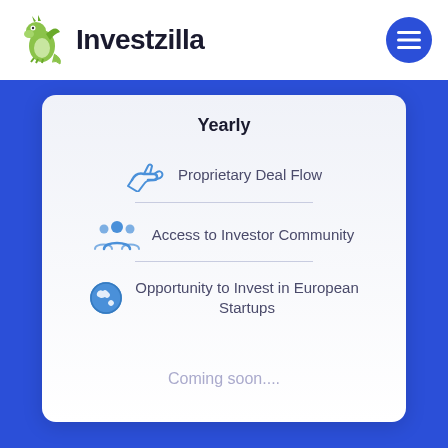[Figure (logo): Investzilla logo with green dragon/lizard mascot and bold dark text 'Investzilla']
Yearly
Proprietary Deal Flow
Access to Investor Community
Opportunity to Invest in European Startups
Coming soon....